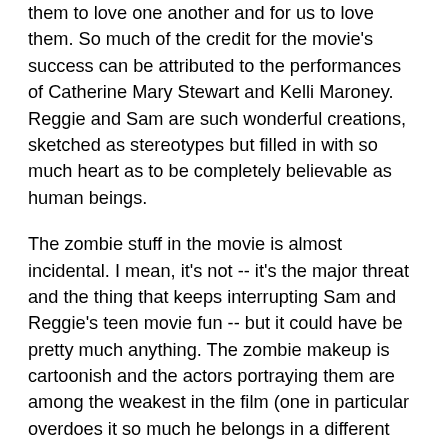them to love one another and for us to love them. So much of the credit for the movie's success can be attributed to the performances of Catherine Mary Stewart and Kelli Maroney. Reggie and Sam are such wonderful creations, sketched as stereotypes but filled in with so much heart as to be completely believable as human beings.
The zombie stuff in the movie is almost incidental. I mean, it's not -- it's the major threat and the thing that keeps interrupting Sam and Reggie's teen movie fun -- but it could have be pretty much anything. The zombie makeup is cartoonish and the actors portraying them are among the weakest in the film (one in particular overdoes it so much he belongs in a different movie). I love it because it's just another aspect of the movie that pushes my buttons, whether it's zombies or sci-fi weirdness or dialogue like "The MAC-10 submachine gun was practically designed for housewives" or the presence of Catherine Mary Stewart. The way they all mix together make the movie hard to categorize. It's not a horror movie, not a comedy, not a sci-fi movie, not a teen movie, and yet it's all of these. I'd be hard pressed to tell someone what kind of movie it is. It's Night of